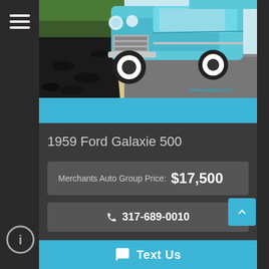[Figure (photo): 1959 Ford Galaxie 500 classic car in turquoise/blue color, photographed from front angle showing the hood, grille, and chrome bumper. Watermark reads www.magindy.com]
1959 Ford Galaxie 500
Merchants Auto Group Price:  $17,500
317-689-0010
Text Us